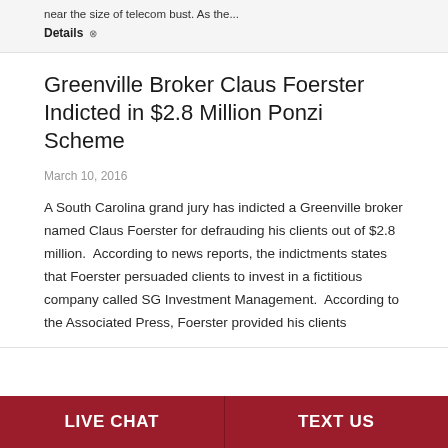near the size of telecom bust. As the...
Details ⊗
Greenville Broker Claus Foerster Indicted in $2.8 Million Ponzi Scheme
March 10, 2016
A South Carolina grand jury has indicted a Greenville broker named Claus Foerster for defrauding his clients out of $2.8 million.  According to news reports, the indictments states that Foerster persuaded clients to invest in a fictitious company called SG Investment Management.  According to the Associated Press, Foerster provided his clients
LIVE CHAT   TEXT US